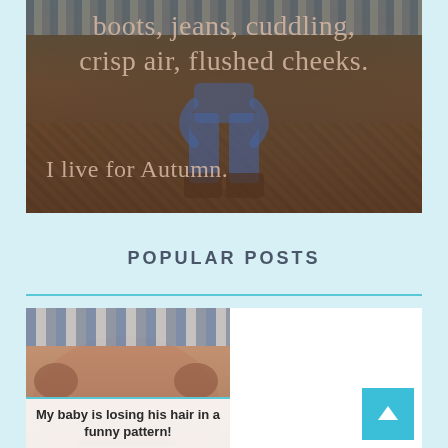[Figure (photo): Autumn-themed image with a person in jeans and boots sitting on fallen leaves, overlaid with text: 'boots, jeans, cuddling, crisp air, flushed cheeks. I live for Autumn.']
POPULAR POSTS
[Figure (photo): Close-up photo of a baby's head losing hair in a pattern, with a cloth/blanket in the background.]
My baby is losing his hair in a funny pattern!